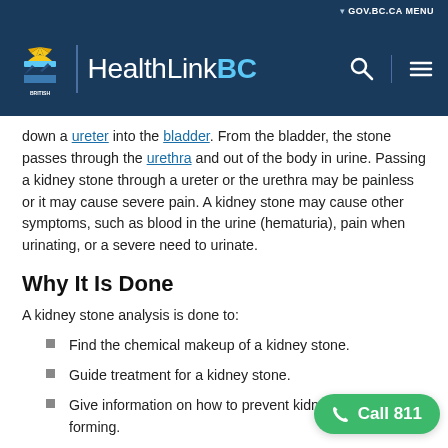GOV.BC.CA MENU
[Figure (logo): HealthLinkBC logo with British Columbia government crest and HealthLinkBC wordmark on dark blue header]
down a ureter into the bladder. From the bladder, the stone passes through the urethra and out of the body in urine. Passing a kidney stone through a ureter or the urethra may be painless or it may cause severe pain. A kidney stone may cause other symptoms, such as blood in the urine (hematuria), pain when urinating, or a severe need to urinate.
Why It Is Done
A kidney stone analysis is done to:
Find the chemical makeup of a kidney stone.
Guide treatment for a kidney stone.
Give information on how to prevent kidney stones from forming.